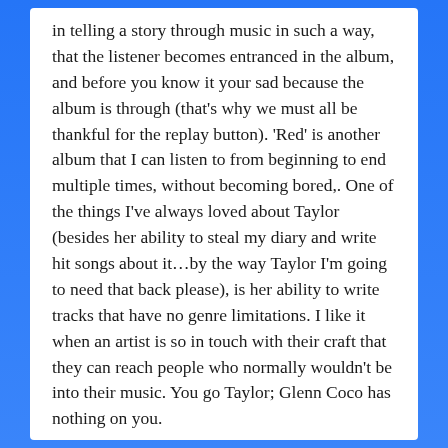in telling a story through music in such a way, that the listener becomes entranced in the album, and before you know it your sad because the album is through (that's why we must all be thankful for the replay button). 'Red' is another album that I can listen to from beginning to end multiple times, without becoming bored,. One of the things I've always loved about Taylor (besides her ability to steal my diary and write hit songs about it…by the way Taylor I'm going to need that back please), is her ability to write tracks that have no genre limitations. I like it when an artist is so in touch with their craft that they can reach people who normally wouldn't be into their music. You go Taylor; Glenn Coco has nothing on you.